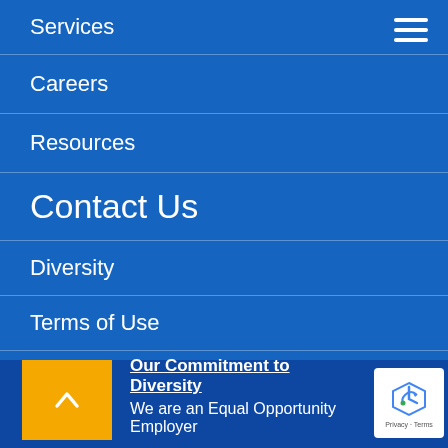Services
Careers
Resources
Contact Us
Diversity
Terms of Use
Privacy Statement
Our Commitment to Diversity
We are an Equal Opportunity Employer